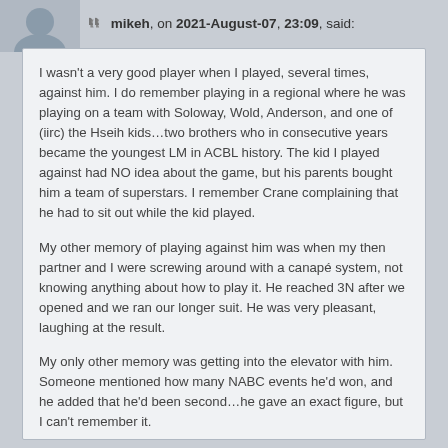mikeh, on 2021-August-07, 23:09, said:
I wasn't a very good player when I played, several times, against him. I do remember playing in a regional where he was playing on a team with Soloway, Wold, Anderson, and one of (iirc) the Hseih kids…two brothers who in consecutive years became the youngest LM in ACBL history. The kid I played against had NO idea about the game, but his parents bought him a team of superstars. I remember Crane complaining that he had to sit out while the kid played.
My other memory of playing against him was when my then partner and I were screwing around with a canapé system, not knowing anything about how to play it. He reached 3N after we opened and we ran our longer suit. He was very pleasant, laughing at the result.
My only other memory was getting into the elevator with him. Someone mentioned how many NABC events he'd won, and he added that he'd been second…he gave an exact figure, but I can't remember it.
He had amazing table feel. From what I later read about his bidding methods, they were astoundingly crude, but he believed strongly in getting into auctions on unortunous values at a time when most good